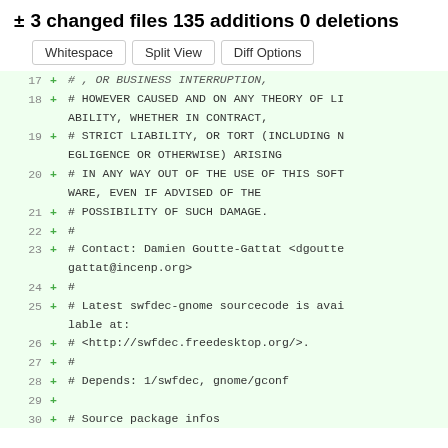± 3 changed files 135 additions 0 deletions
Whitespace  Split View  Diff Options
17  +  # , OR BUSINESS INTERRUPTION,
18  +  # HOWEVER CAUSED AND ON ANY THEORY OF LIABILITY, WHETHER IN CONTRACT,
19  +  # STRICT LIABILITY, OR TORT (INCLUDING NEGLIGENCE OR OTHERWISE) ARISING
20  +  # IN ANY WAY OUT OF THE USE OF THIS SOFTWARE, EVEN IF ADVISED OF THE
21  +  # POSSIBILITY OF SUCH DAMAGE.
22  +  #
23  +  # Contact: Damien Goutte-Gattat <dgouttegattat@incenp.org>
24  +  #
25  +  # Latest swfdec-gnome sourcecode is available at:
26  +  # <http://swfdec.freedesktop.org/>.
27  +  #
28  +  # Depends: 1/swfdec, gnome/gconf
29  +
30  +  # Source package infos